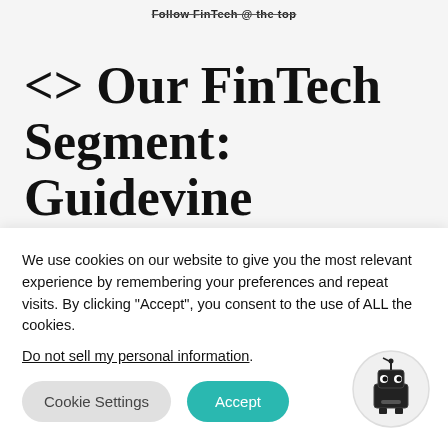Follow FinTech @ the top
<> Our FinTech Segment: Guidevine
Raghav Sharma, CEO of Guidevine joins us for a tour of how Guidevine is shaping the f…
We use cookies on our website to give you the most relevant experience by remembering your preferences and repeat visits. By clicking "Accept", you consent to the use of ALL the cookies.
Do not sell my personal information.
Cookie Settings
Accept